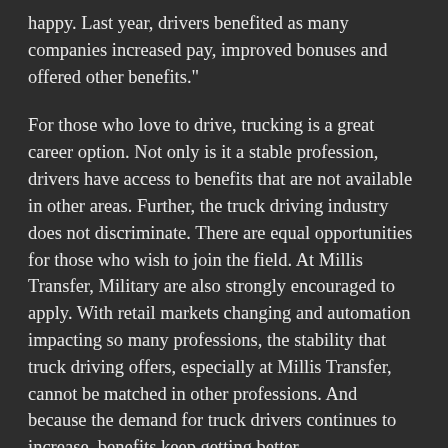happy. Last year, drivers benefited as many companies increased pay, improved bonuses and offered other benefits."
For those who love to drive, trucking is a great career option. Not only is it a stable profession, drivers have access to benefits that are not available in other areas. Further, the truck driving industry does not discriminate. There are equal opportunities for those who wish to join the field. At Millis Transfer, Military are also strongly encouraged to apply. With retail markets changing and automation impacting so many professions, the stability that truck driving offers, especially at Millis Transfer, cannot be matched in other professions. And because the demand for truck drivers continues to increase, benefits keep getting better.
The American Trucking Association reports that 71 percent of all freight tonnage is moved via trucks. And while automation and technology continue to be leading causes of career loss for a lot of industries, Nation.Com states it will be years and years before maturation even begins to occur and/or impact the